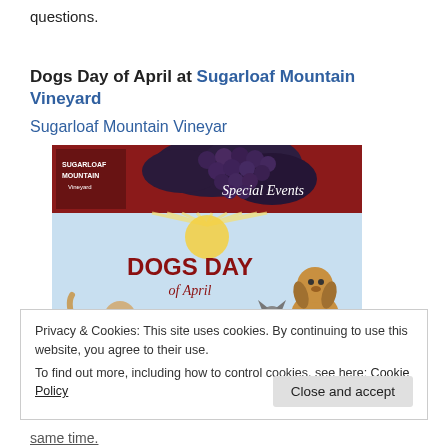questions.
Dogs Day of April at Sugarloaf Mountain Vineyard
Sugarloaf Mountain Vineyar
[Figure (photo): Event banner image for Dogs Day of April at Sugarloaf Mountain Vineyard. Shows dogs illustrated on a green background with text 'DOGS DAY of April, Saturday April 23, 2011' and a header with grapes and 'Special Events'.]
Privacy & Cookies: This site uses cookies. By continuing to use this website, you agree to their use.
To find out more, including how to control cookies, see here: Cookie Policy
same time.